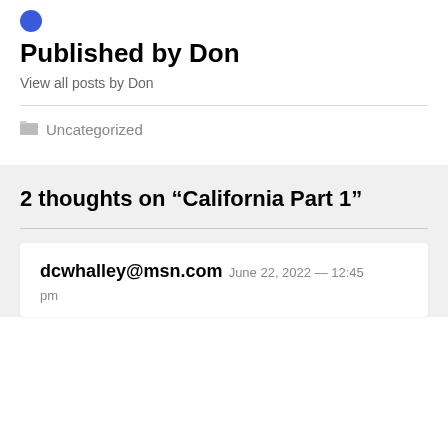[Figure (logo): Blue circular avatar icon]
Published by Don
View all posts by Don
Uncategorized
2 thoughts on “California Part 1”
dcwhalley@msn.com  June 22, 2022 — 12:45 pm